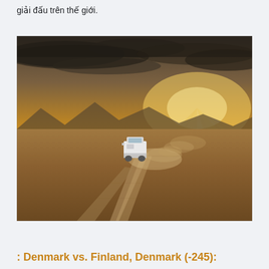giải đấu trên thế giới.
[Figure (photo): A white van driving on a dusty dirt road across a vast open plain, with dramatic golden sunset light and rays breaking through clouds in the background, mountains visible in the distance.]
: Denmark vs. Finland, Denmark (-245):